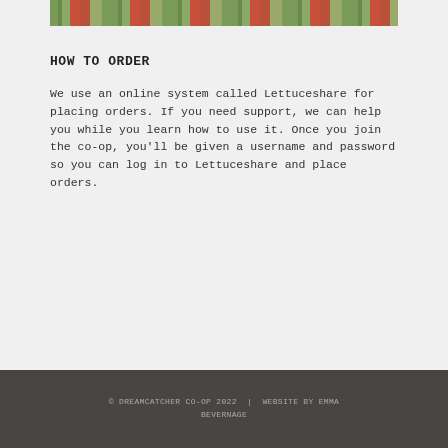[Figure (photo): Top portion of a photo showing fresh vegetables including green onions/leeks and red items, cropped at the top of the page]
HOW TO ORDER
We use an online system called Lettuceshare for placing orders. If you need support, we can help you while you learn how to use it. Once you join the co-op, you'll be given a username and password so you can log in to Lettuceshare and place orders.
© DREAMCATCHER CO-OP 2022  |  WEBSITE BY EMMA BEVERNAGE